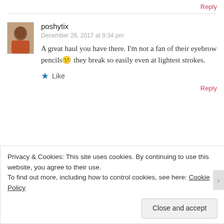Reply
poshytix
December 28, 2017 at 9:34 pm
A great haul you have there. I'm not a fan of their eyebrow pencils😕 they break so easily even at lightest strokes.
★ Like
Reply
Privacy & Cookies: This site uses cookies. By continuing to use this website, you agree to their use.
To find out more, including how to control cookies, see here: Cookie Policy
Close and accept